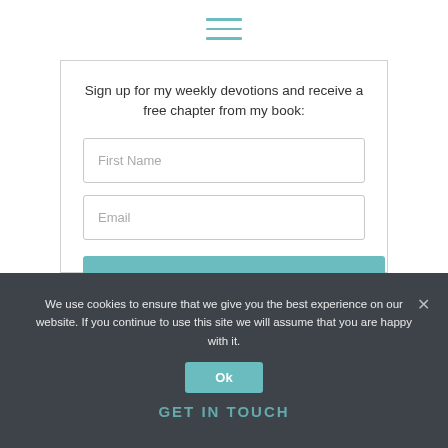[Figure (other): Hamburger menu icon with three horizontal teal lines]
Sign up for my weekly devotions and receive a free chapter from my book:
First Name
Email
Yes please, sign me up!
We use cookies to ensure that we give you the best experience on our website. If you continue to use this site we will assume that you are happy with it.
Ok
GET IN TOUCH